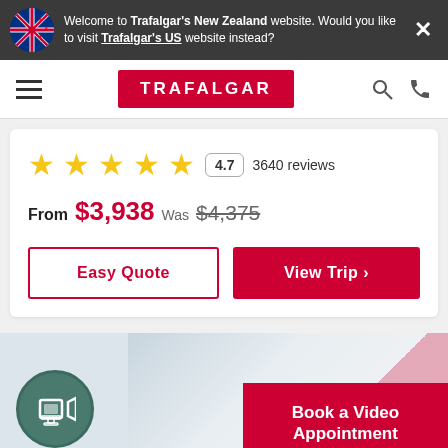Welcome to Trafalgar's New Zealand website. Would you like to visit Trafalgar's US website instead?
[Figure (logo): Trafalgar travel logo in red box with white letters]
4.7  3640 reviews
From $3,938  Was $4,375
Easy Quote
View Trip
[Figure (illustration): Book a Video Appointment promotional section with icon and red box]
Book a Video Appointment